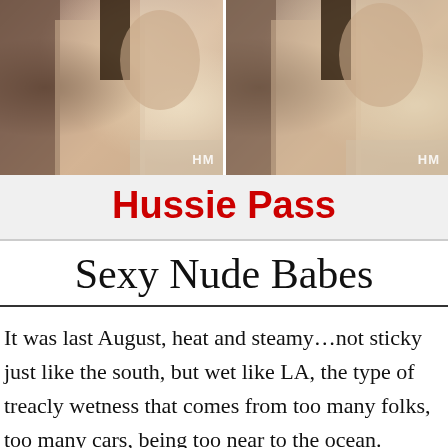[Figure (photo): Two side-by-side adult content photographs with HM watermarks]
Hussie Pass
Sexy Nude Babes
It was last August, heat and steamy…not sticky just like the south, but wet like LA, the type of treacly wetness that comes from too many folks, too many cars, being too near to the ocean. Dierdre's lodging was simply plain hot. The sun fell through the windows like honey and onto the ground where we tend to lay sprawling, painting our toes and talking concerning our plans for tonight. 2 hangers draped in black swung listlessly on the doorpost, our outfits drying within the soaking